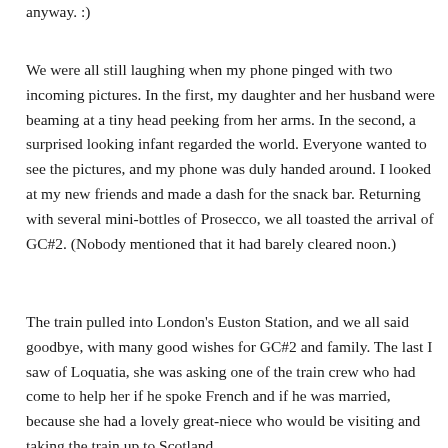anyway. :)
We were all still laughing when my phone pinged with two incoming pictures. In the first, my daughter and her husband were beaming at a tiny head peeking from her arms. In the second, a surprised looking infant regarded the world. Everyone wanted to see the pictures, and my phone was duly handed around. I looked at my new friends and made a dash for the snack bar. Returning with several mini-bottles of Prosecco, we all toasted the arrival of GC#2. (Nobody mentioned that it had barely cleared noon.)
The train pulled into London's Euston Station, and we all said goodbye, with many good wishes for GC#2 and family. The last I saw of Loquatia, she was asking one of the train crew who had come to help her if he spoke French and if he was married, because she had a lovely great-niece who would be visiting and taking the train up to Scotland.